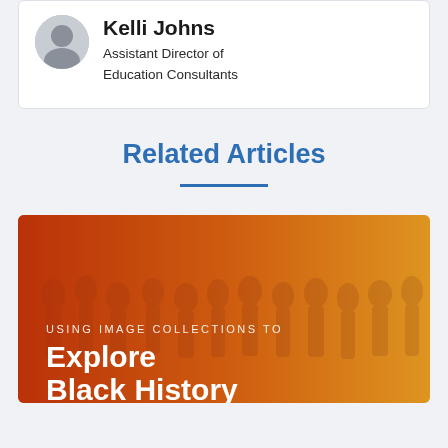[Figure (photo): Profile photo of Kelli Johns, partially visible headshot]
Kelli Johns
Assistant Director of Education Consultants
Related Articles
[Figure (photo): Historical photo of Black Americans marching, overlaid with orange-to-yellow gradient. Text reads: USING IMAGE COLLECTIONS TO Explore Black History]